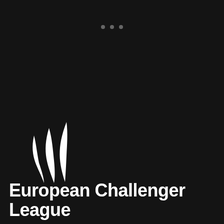[Figure (logo): Three white flame/feather swoosh shapes forming the European Challenger League logo mark]
European Challenger League